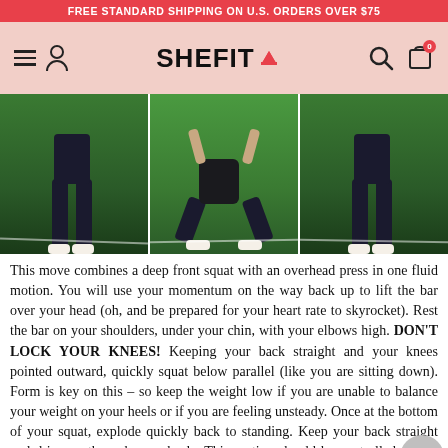FREE STANDARD SHIPPING ON U.S. ORDERS OVER $75
[Figure (logo): SHEFIT logo with crown icon, hamburger menu, user icon, search icon, and cart icon (0 items) on a pink background]
[Figure (photo): Three panel photo showing a woman performing a front squat with overhead press exercise on a green turf background]
This move combines a deep front squat with an overhead press in one fluid motion. You will use your momentum on the way back up to lift the bar over your head (oh, and be prepared for your heart rate to skyrocket). Rest the bar on your shoulders, under your chin, with your elbows high. DON'T LOCK YOUR KNEES! Keeping your back straight and your knees pointed outward, quickly squat below parallel (like you are sitting down). Form is key on this – so keep the weight low if you are unable to balance your weight on your heels or if you are feeling unsteady. Once at the bottom of your squat, explode quickly back to standing. Keep your back straight and drive up through your heels. This motion should be controlled. Using the momentum